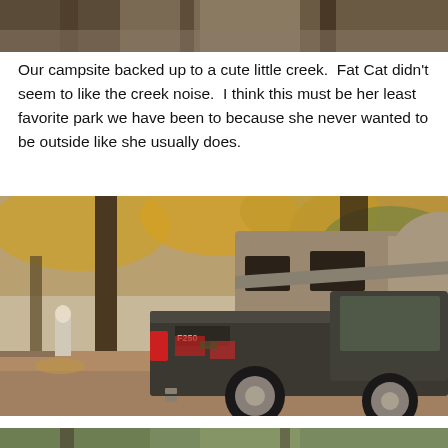[Figure (photo): Top portion of a photo showing a wooded campsite area with wooden posts and brown ground]
Our campsite backed up to a cute little creek.  Fat Cat didn't seem to like the creek noise.  I think this must be her least favorite park we have been to because she never wanted to be outside like she usually does.
[Figure (photo): A truck with a camper/RV attached parked at a wooded campsite in autumn. A person stands near trees in the background. Red camp chairs visible. Fall foliage on trees. Ground covered with fallen leaves.]
[Figure (photo): Bottom partial photo of a wooded area with trees and green foliage]